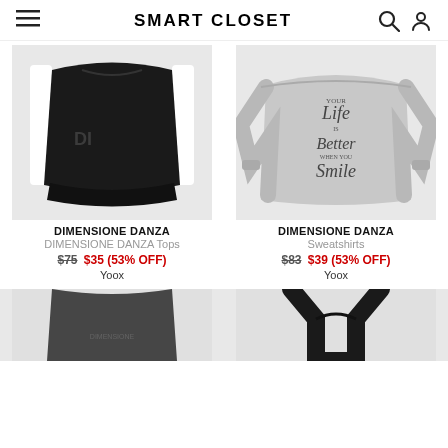SMART CLOSET
[Figure (photo): Black crop sports top with white stripes on sides and reflective DI logo graphic, by Dimensione Danza]
[Figure (photo): Grey off-shoulder sweatshirt with cursive text 'your Life is Better WHEN YOU Smile', by Dimensione Danza]
DIMENSIONE DANZA
DIMENSIONE DANZA Tops
$75 $35 (53% OFF)
Yoox
DIMENSIONE DANZA
Sweatshirts
$83 $39 (53% OFF)
Yoox
[Figure (photo): Dark mesh top with printed text, partially visible at bottom]
[Figure (photo): Black racerback sports top, partially visible at bottom]